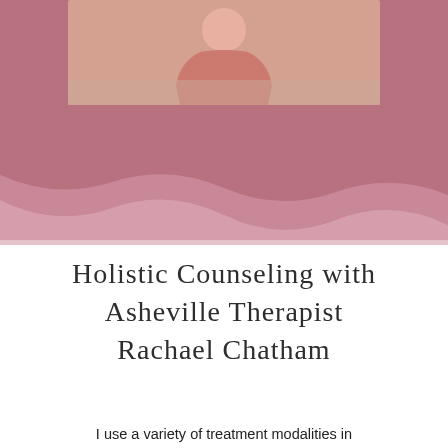[Figure (photo): Photograph of a person wearing a pink/salmon colored flowing dress, cropped, against a light background, positioned at the top of the page]
Holistic Counseling with Asheville Therapist Rachael Chatham
I use a variety of treatment modalities in